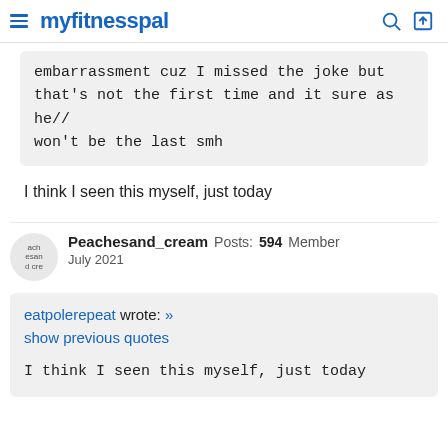myfitnesspal
embarrassment cuz I missed the joke but that's not the first time and it sure as he// won't be the last smh
I think I seen this myself, just today
Peachesand_cream  Posts: 594  Member  July 2021
eatpolerepeat wrote: » show previous quotes

I think I seen this myself, just today